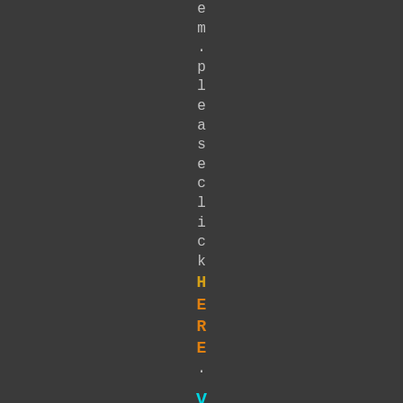e m . p l e a s e c l i c k H E R E . V i n t a